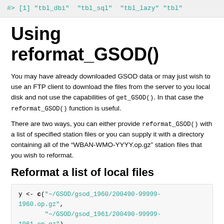#> [1] "tbl_dbi"  "tbl_sql"  "tbl_lazy" "tbl"
Using reformat_GSOD()
You may have already downloaded GSOD data or may just wish to use an FTP client to download the files from the server to you local disk and not use the capabilities of get_GSOD(). In that case the reformat_GSOD() function is useful.
There are two ways, you can either provide reformat_GSOD() with a list of specified station files or you can supply it with a directory containing all of the “WBAN-WMO-YYYY.op.gz” station files that you wish to reformat.
Reformat a list of local files
y <- c("~/GSOD/gsod_1960/200490-99999-1960.op.gz",
         "~/GSOD/gsod_1961/200490-99999-1961.op.gz")
x <- reformat_GSOD(file_list = y)